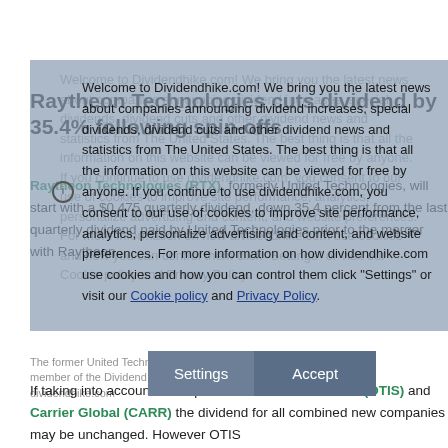Raytheon Technologies cuts dividend by 35.4% following spin-offs
Raytheon Technologies (RTX), formerly United Technologies, will start with a $0.475 quarterly dividend, down 35.4 percent from the last quarterly dividend paid by United Technologies prior to the merger with Raytheon.
Welcome to Dividendhike.com! We bring you the latest news about companies announcing dividend increases, special dividends, dividend cuts and other dividend news and statistics from The United States. The best thing is that all the information on this website can be viewed for free by anyone. If you continue to use dividendhike.com, you consent to our use of cookies to improve site performance, analytics, personalize advertising and content, and website preferences. For more information on how dividendhike.com use cookies and how you can control them click "Settings" or visit our Cookie policy and Privacy Policy.
The former United Technologies was a member of the Dividend Aristocrats Index. dividendhike.com
If taking into account the separation of Otis Worldwide (OTIS) and Carrier Global (CARR) the dividend for all combined new companies may be unchanged. However OTIS